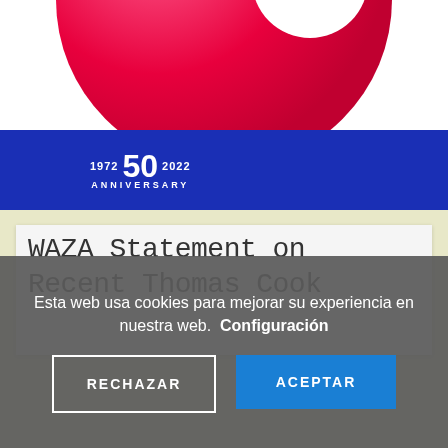[Figure (logo): Partial view of a circular gradient logo (pink to red) — top portion of a WAZA 50th anniversary logo]
[Figure (logo): Blue banner with 50th anniversary badge: '1972  50  2022  ANNIVERSARY' in white text]
WAZA Statement on Recent Thomas Cook
Esta web usa cookies para mejorar su experiencia en nuestra web.  Configuración
RECHAZAR
ACEPTAR